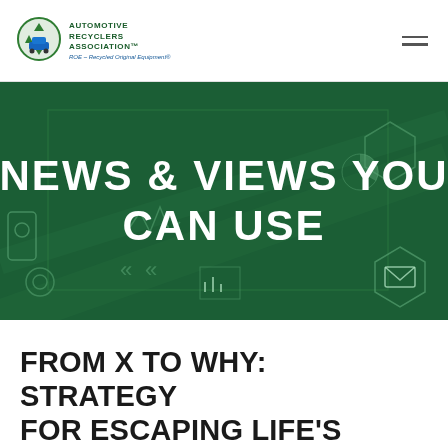Automotive Recyclers Association — ROE Recycled Original Equipment
[Figure (illustration): Green technology/digital dashboard hero banner with overlaid bold white text reading NEWS & VIEWS YOU CAN USE]
NEWS & VIEWS YOU CAN USE
FROM X TO WHY: STRATEGY FOR ESCAPING LIFE'S